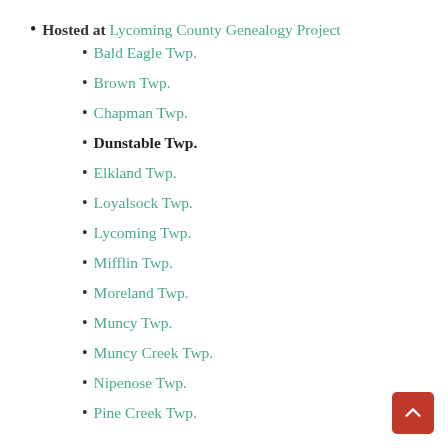Hosted at Lycoming County Genealogy Project
Bald Eagle Twp.
Brown Twp.
Chapman Twp.
Dunstable Twp.
Elkland Twp.
Loyalsock Twp.
Lycoming Twp.
Mifflin Twp.
Moreland Twp.
Muncy Twp.
Muncy Creek Twp.
Nipenose Twp.
Pine Creek Twp.